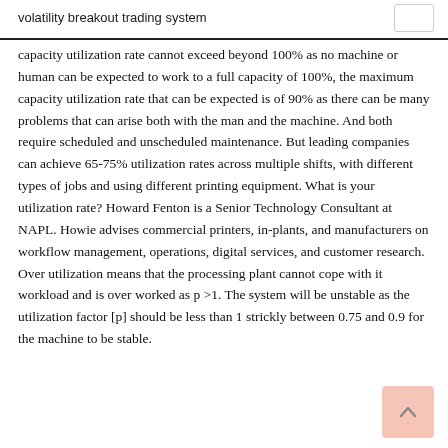volatility breakout trading system
capacity utilization rate cannot exceed beyond 100% as no machine or human can be expected to work to a full capacity of 100%, the maximum capacity utilization rate that can be expected is of 90% as there can be many problems that can arise both with the man and the machine. And both require scheduled and unscheduled maintenance. But leading companies can achieve 65-75% utilization rates across multiple shifts, with different types of jobs and using different printing equipment. What is your utilization rate? Howard Fenton is a Senior Technology Consultant at NAPL. Howie advises commercial printers, in-plants, and manufacturers on workflow management, operations, digital services, and customer research. Over utilization means that the processing plant cannot cope with it workload and is over worked as p >1. The system will be unstable as the utilization factor [p] should be less than 1 strickly between 0.75 and 0.9 for the machine to be stable.